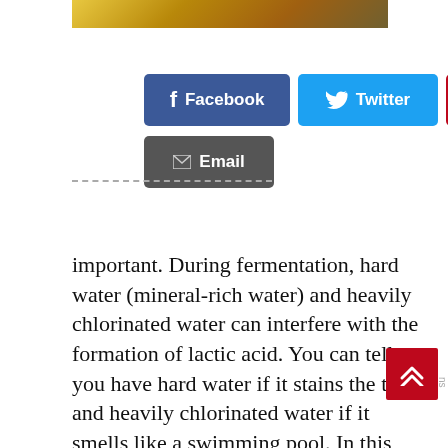[Figure (photo): Partial food photo strip visible at top of page]
[Figure (infographic): Social share buttons: Facebook (blue), Twitter (cyan), Pinterest (red), Email (dark grey)]
important. During fermentation, hard water (mineral-rich water) and heavily chlorinated water can interfere with the formation of lactic acid. You can tell you have hard water if it stains the toilet and heavily chlorinated water if it smells like a swimming pool. In this case, you have two options: Either buy distilled water, or bring your tap water to a